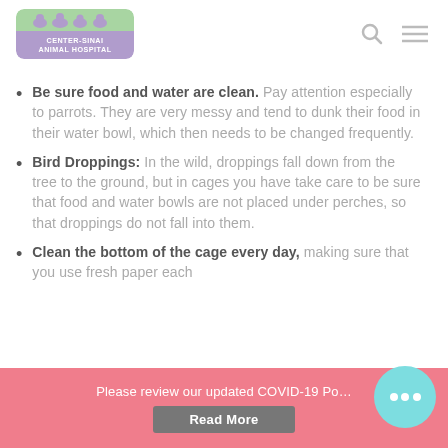CENTER-SINAI ANIMAL HOSPITAL
Be sure food and water are clean. Pay attention especially to parrots. They are very messy and tend to dunk their food in their water bowl, which then needs to be changed frequently.
Bird Droppings: In the wild, droppings fall down from the tree to the ground, but in cages you have take care to be sure that food and water bowls are not placed under perches, so that droppings do not fall into them.
Clean the bottom of the cage every day, making sure that you use fresh paper each time. Clean the...
Please review our updated COVID-19 Po... Read More